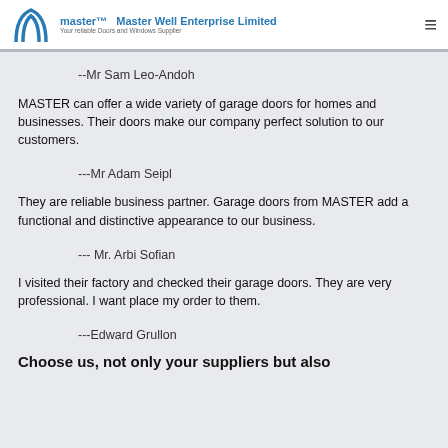Master Well Enterprise Limited — Your reliable Doors and Windows Supplier
--Mr Sam Leo-Andoh
MASTER can offer a wide variety of garage doors for homes and businesses. Their doors make our company perfect solution to our customers.
---Mr Adam Seipl
They are reliable business partner. Garage doors from MASTER add a functional and distinctive appearance to our business.
--- Mr. Arbi Sofian
I visited their factory and checked their garage doors. They are very professional. I want place my order to them.
---Edward Grullon
Choose us, not only your suppliers but also